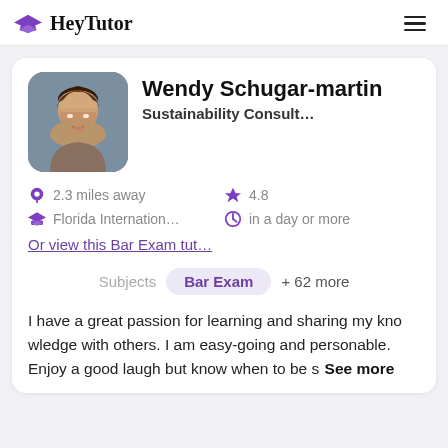HeyTutor
Wendy Schugar-martin
Sustainability Consult…
2.3 miles away
4.8
Florida Internation…
in a day or more
Or view this Bar Exam tut…
Subjects   Bar Exam   + 62 more
I have a great passion for learning and sharing my knowledge with others. I am easy-going and personable. Enjoy a good laugh but know when to be s… See more